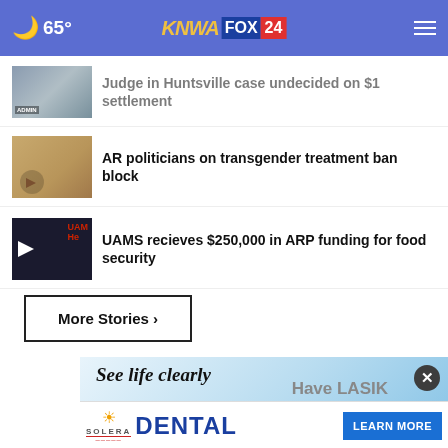65° KNWA FOX 24
Judge in Huntsville case undecided on $1 settlement
AR politicians on transgender treatment ban block
UAMS recieves $250,000 in ARP funding for food security
More Stories ›
[Figure (screenshot): Advertisement: See life clearly Have LASIK - Solera Dental with Learn More button]